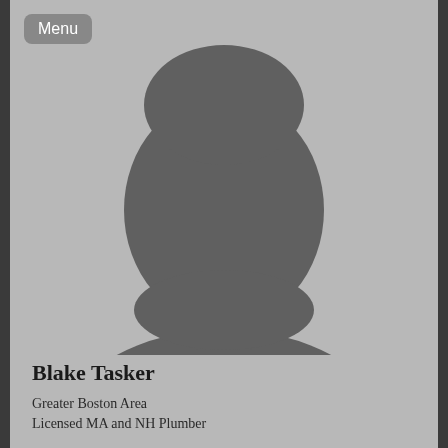[Figure (photo): Generic placeholder profile silhouette of a person (head and shoulders) in dark gray on light gray background]
Blake Tasker
Greater Boston Area
Licensed MA and NH Plumber